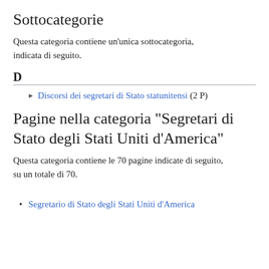Sottocategorie
Questa categoria contiene un'unica sottocategoria, indicata di seguito.
D
▶ Discorsi dei segretari di Stato statunitensi (2 P)
Pagine nella categoria "Segretari di Stato degli Stati Uniti d'America"
Questa categoria contiene le 70 pagine indicate di seguito, su un totale di 70.
Segretario di Stato degli Stati Uniti d'America